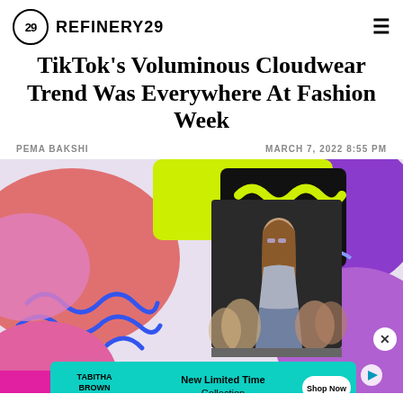REFINERY29
TikTok's Voluminous Cloudwear Trend Was Everywhere At Fashion Week
PEMA BAKSHI    MARCH 7, 2022 8:55 PM
[Figure (photo): Fashion model on runway wearing a halter top and patterned jeans, with colorful abstract shapes in the background (pink, purple, yellow, blue). An advertisement banner for Tabitha Brown's New Limited Time Collection overlays the bottom of the image with a teal background and a Shop Now button.]